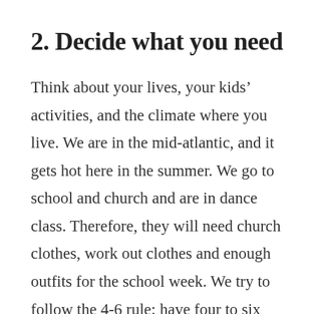2.  Decide what you need
Think about your lives, your kids’ activities, and the climate where you live. We are in the mid-atlantic, and it gets hot here in the summer. We go to school and church and are in dance class. Therefore, they will need church clothes, work out clothes and enough outfits for the school week. We try to follow the 4-6 rule: have four to six pairs of pants- two pairs of jeans, one pair of dark